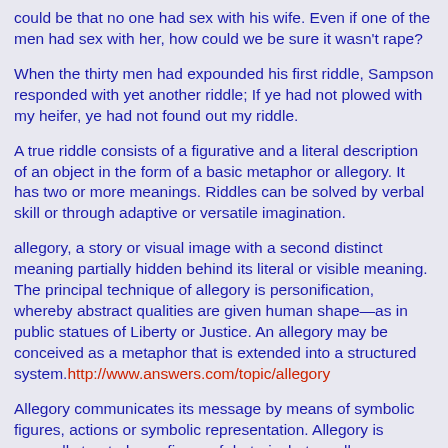could be that no one had sex with his wife. Even if one of the men had sex with her, how could we be sure it wasn't rape?
When the thirty men had expounded his first riddle, Sampson responded with yet another riddle; If ye had not plowed with my heifer, ye had not found out my riddle.
A true riddle consists of a figurative and a literal description of an object in the form of a basic metaphor or allegory. It has two or more meanings. Riddles can be solved by verbal skill or through adaptive or versatile imagination.
allegory, a story or visual image with a second distinct meaning partially hidden behind its literal or visible meaning. The principal technique of allegory is personification, whereby abstract qualities are given human shape—as in public statues of Liberty or Justice. An allegory may be conceived as a metaphor that is extended into a structured system. http://www.answers.com/topic/allegory
Allegory communicates its message by means of symbolic figures, actions or symbolic representation. Allegory is generally treated as a figure of rhetoric, but an allegory